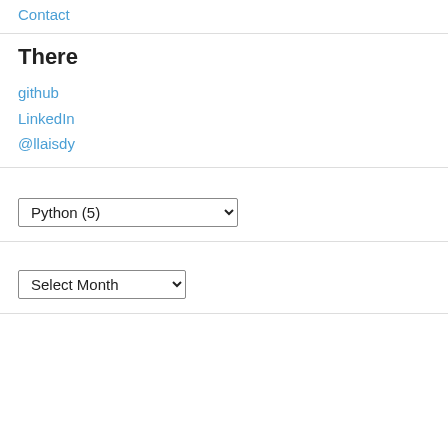Contact
There
github
LinkedIn
@llaisdy
Python  (5)
Select Month